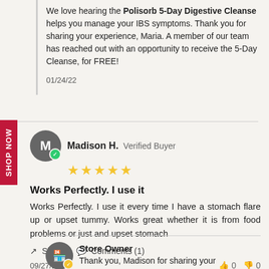We love hearing the Polisorb 5-Day Digestive Cleanse helps you manage your IBS symptoms. Thank you for sharing your experience, Maria. A member of our team has reached out with an opportunity to receive the 5-Day Cleanse, for FREE!
01/24/22
Madison H. Verified Buyer
Works Perfectly. I use it
Works Perfectly. I use it every time I have a stomach flare up or upset tummy. Works great whether it is from food problems or just and upset stomach
Share | Comments (1)
09/27/21
Store Owner
Thank you, Madison for sharing your